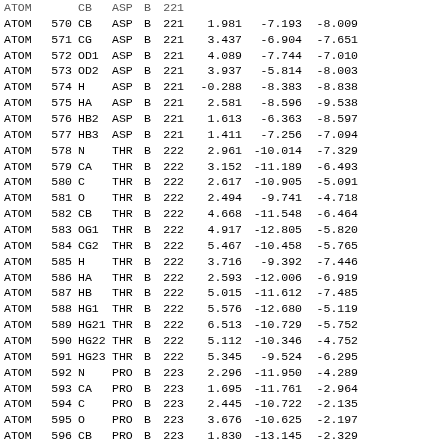| Record | Num | Atom | Res | Chain | SeqN | X | Y | Z |
| --- | --- | --- | --- | --- | --- | --- | --- | --- |
| ATOM | 570 | CB | ASP | B | 221 | 1.981 | -7.193 | -8.009 |
| ATOM | 571 | CG | ASP | B | 221 | 3.437 | -6.904 | -7.651 |
| ATOM | 572 | OD1 | ASP | B | 221 | 4.089 | -7.744 | -7.010 |
| ATOM | 573 | OD2 | ASP | B | 221 | 3.937 | -5.814 | -8.003 |
| ATOM | 574 | H | ASP | B | 221 | -0.288 | -8.383 | -8.838 |
| ATOM | 575 | HA | ASP | B | 221 | 2.581 | -8.596 | -9.538 |
| ATOM | 576 | HB2 | ASP | B | 221 | 1.613 | -6.363 | -8.597 |
| ATOM | 577 | HB3 | ASP | B | 221 | 1.411 | -7.256 | -7.094 |
| ATOM | 578 | N | THR | B | 222 | 2.961 | -10.014 | -7.329 |
| ATOM | 579 | CA | THR | B | 222 | 3.152 | -11.189 | -6.493 |
| ATOM | 580 | C | THR | B | 222 | 2.617 | -10.905 | -5.091 |
| ATOM | 581 | O | THR | B | 222 | 2.494 | -9.741 | -4.718 |
| ATOM | 582 | CB | THR | B | 222 | 4.668 | -11.548 | -6.464 |
| ATOM | 583 | OG1 | THR | B | 222 | 4.917 | -12.805 | -5.820 |
| ATOM | 584 | CG2 | THR | B | 222 | 5.467 | -10.458 | -5.765 |
| ATOM | 585 | H | THR | B | 222 | 3.716 | -9.392 | -7.446 |
| ATOM | 586 | HA | THR | B | 222 | 2.593 | -12.006 | -6.919 |
| ATOM | 587 | HB | THR | B | 222 | 5.015 | -11.612 | -7.485 |
| ATOM | 588 | HG1 | THR | B | 222 | 5.576 | -12.680 | -5.119 |
| ATOM | 589 | HG21 | THR | B | 222 | 6.513 | -10.729 | -5.752 |
| ATOM | 590 | HG22 | THR | B | 222 | 5.112 | -10.346 | -4.752 |
| ATOM | 591 | HG23 | THR | B | 222 | 5.345 | -9.524 | -6.295 |
| ATOM | 592 | N | PRO | B | 223 | 2.296 | -11.950 | -4.289 |
| ATOM | 593 | CA | PRO | B | 223 | 1.695 | -11.761 | -2.964 |
| ATOM | 594 | C | PRO | B | 223 | 2.445 | -10.722 | -2.135 |
| ATOM | 595 | O | PRO | B | 223 | 3.676 | -10.625 | -2.197 |
| ATOM | 596 | CB | PRO | B | 223 | 1.830 | -13.145 | -2.329 |
| ATOM | 597 | CG | PRO | B | 223 | 1.761 | -14.087 | -3.478 |
| ATOM | 598 | CD | PRO | B | 223 | 2.418 | -13.382 | -4.633 |
| ATOM | 599 | HA | PRO | B | 223 | 0.652 | -11.489 | -3.031 |